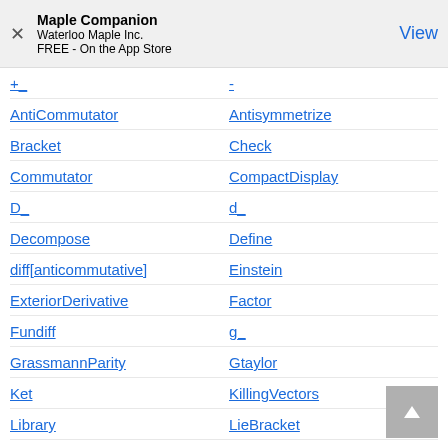Maple Companion
Waterloo Maple Inc.
FREE - On the App Store
+_
-
AntiCommutator
Antisymmetrize
Bracket
Check
Commutator
CompactDisplay
D_
d_
Decompose
Define
diff[anticommutative]
Einstein
ExteriorDerivative
Factor
Fundiff
g_
GrassmannParity
Gtaylor
Ket
KillingVectors
Library
LieBracket
Parameters
PerformOnAnticommutativeSyst